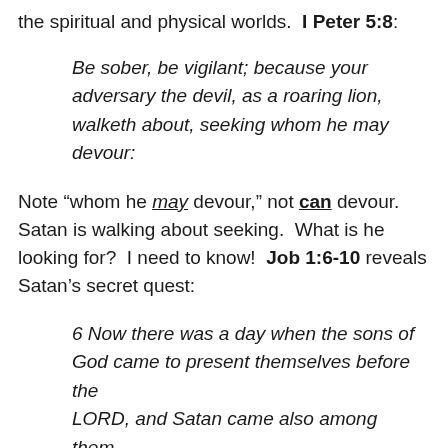the spiritual and physical worlds.  I Peter 5:8:
Be sober, be vigilant; because your adversary the devil, as a roaring lion, walketh about, seeking whom he may devour:
Note “whom he may devour,” not can devour. Satan is walking about seeking.  What is he looking for?  I need to know!  Job 1:6-10 reveals Satan’s secret quest:
6 Now there was a day when the sons of God came to present themselves before the LORD, and Satan came also among them.
7 And the LORD said unto Satan, Whence